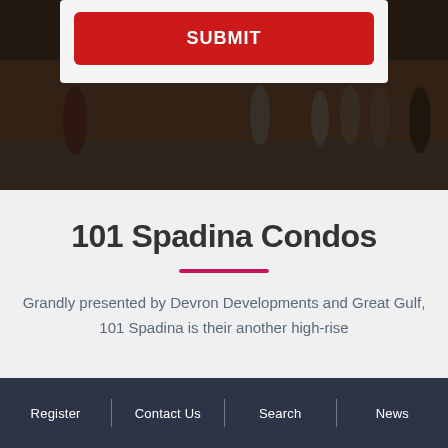[Figure (photo): Street-level photo of a building exterior with pedestrians walking, dark and slightly blurred background]
101 Spadina Condos
Grandly presented by Devron Developments and Great Gulf, 101 Spadina is their another high-rise
Register | Contact Us | Search | News